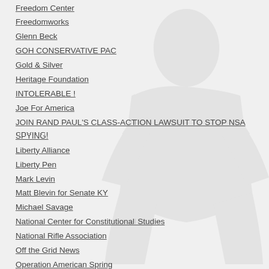Freedom Center
Freedomworks
Glenn Beck
GOH CONSERVATIVE PAC
Gold & Silver
Heritage Foundation
INTOLERABLE !
Joe For America
JOIN RAND PAUL'S CLASS-ACTION LAWSUIT TO STOP NSA SPYING!
Liberty Alliance
Liberty Pen
Mark Levin
Matt Blevin for Senate KY
Michael Savage
National Center for Constitutional Studies
National Rifle Association
Off the Grid News
Operation American Spring
Patriot Outdoor News